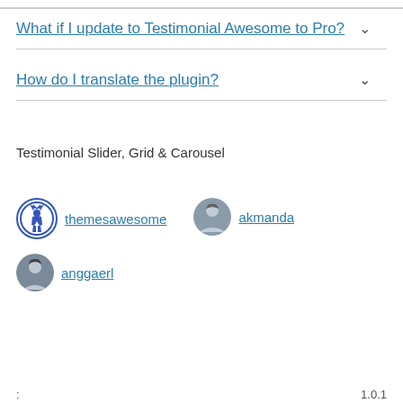What if I update to Testimonial Awesome to Pro?
How do I translate the plugin?
ββββββββ
Testimonial Slider, Grid & Carousel βββββββββββββββββββββββββββββββββ
themesawesome
akmanda
anggaerl
: 1.0.1